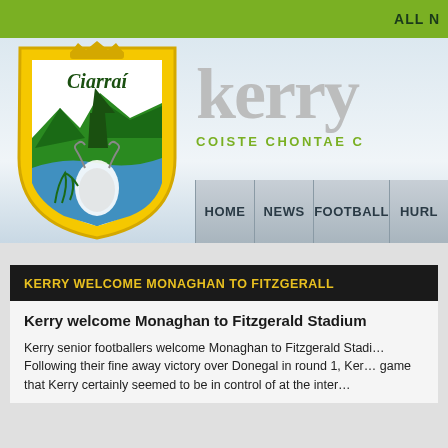ALL N
[Figure (logo): Kerry GAA Ciarraí county crest / shield logo in yellow and green with deer, mountain, ship, and fern motifs]
Kerry COISTE CHONTAE C
HOME | NEWS | FOOTBALL | HURL
KERRY WELCOME MONAGHAN TO FITZGERALL
Kerry welcome Monaghan to Fitzgerald Stadium
Kerry senior footballers welcome Monaghan to Fitzgerald Stadi... Following their fine away victory over Donegal in round 1, Ker... game that Kerry certainly seemed to be in control of at the inter...